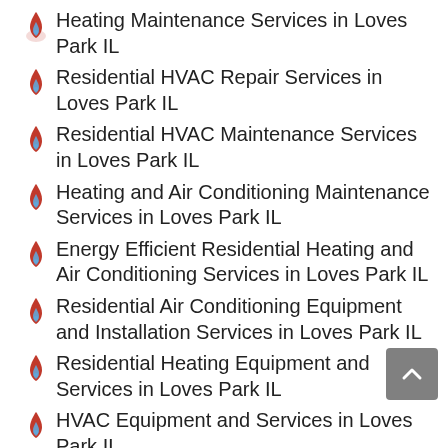Heating Maintenance Services in Loves Park IL
Residential HVAC Repair Services in Loves Park IL
Residential HVAC Maintenance Services in Loves Park IL
Heating and Air Conditioning Maintenance Services in Loves Park IL
Energy Efficient Residential Heating and Air Conditioning Services in Loves Park IL
Residential Air Conditioning Equipment and Installation Services in Loves Park IL
Residential Heating Equipment and Services in Loves Park IL
HVAC Equipment and Services in Loves Park IL